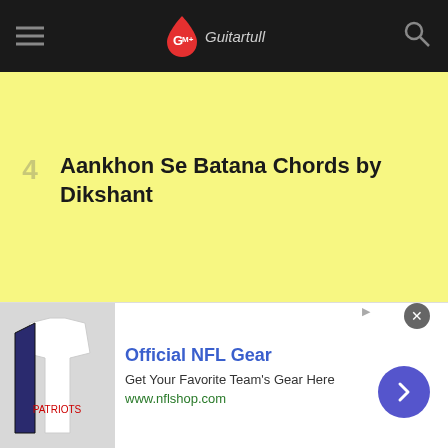Guitartull (logo)
4 Aankhon Se Batana Chords by Dikshant
5 Ek Villain Returns – Dil chords by Raghav Chaitanya
[Figure (screenshot): Advertisement banner: Official NFL Gear - Get Your Favorite Team's Gear Here - www.nflshop.com, with NFL jersey image and arrow button]